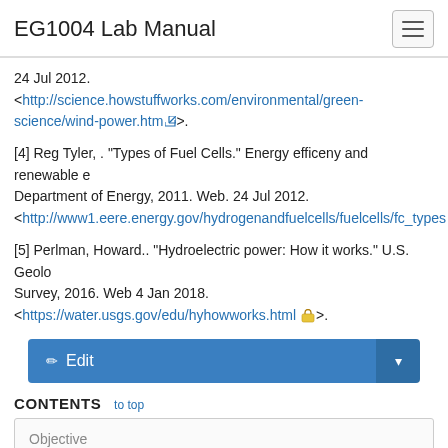EG1004 Lab Manual
24 Jul 2012. <http://science.howstuffworks.com/environmental/green-science/wind-power.htm>.
[4] Reg Tyler, . "Types of Fuel Cells." Energy efficeny and renewable e... Department of Energy, 2011. Web. 24 Jul 2012. <http://www1.eere.energy.gov/hydrogenandfuelcells/fuelcells/fc_types...
[5] Perlman, Howard.. "Hydroelectric power: How it works." U.S. Geolo... Survey, 2016. Web 4 Jan 2018. <https://water.usgs.gov/edu/hyhowworks.html>.
CONTENTS  to top
Objective
Overview
Design Considerations
Materials and Equipment